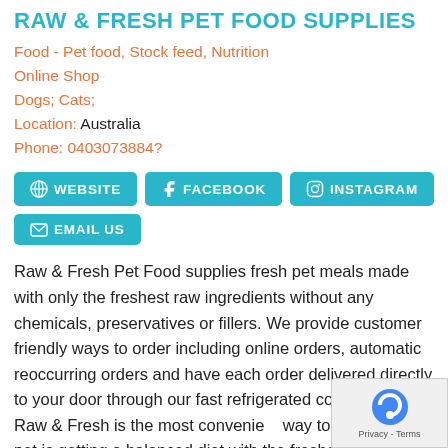RAW & FRESH PET FOOD SUPPLIES
Food - Pet food, Stock feed, Nutrition
Online Shop
Dogs; Cats;
Location: Australia
Phone: 0403073884?
[Figure (other): Buttons: WEBSITE, FACEBOOK, INSTAGRAM, EMAIL US]
Raw & Fresh Pet Food supplies fresh pet meals made with only the freshest raw ingredients without any chemicals, preservatives or fillers. We provide customer friendly ways to order including online orders, automatic reoccurring orders and have each order delivered directly to your door through our fast refrigerated courier network. Raw & Fresh is the most convenient way to ensure your pet is getting a balanced diet with the freshest ingredients.